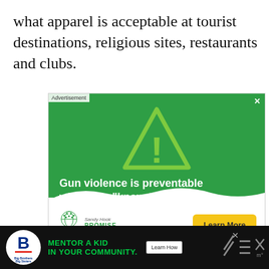what apparel is acceptable at tourist destinations, religious sites, restaurants and clubs.
[Figure (infographic): Sandy Hook Promise advertisement on green background with warning triangle icon. Text reads: 'Gun violence is preventable when you "know the signs".' with a 'Learn More' yellow button and Sandy Hook Promise logo.]
[Figure (infographic): Big Brothers Big Sisters advertisement on black background. Text reads: 'MENTOR A KID IN YOUR COMMUNITY.' with a 'Learn How' button and organizational logo.]